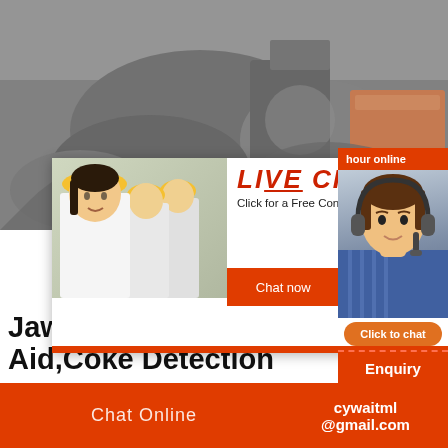[Figure (photo): Industrial machinery/crusher equipment at a quarry site, gray tones]
[Figure (screenshot): Live chat popup with workers in hard hats, red LIVE CHAT heading, Chat now and Chat later buttons, and customer service agent with headset on the right, hour online badge, Click to chat button, and Enquiry button]
Jaw Crusher, Laboratory Aid,Coke Detection
We are manufacturer of Jaw Crusher in Ch to buy Laboratory Aid, Coke Detection Eq Molding Press, please contact us. We since
Chat Online   cywaitml @gmail.com